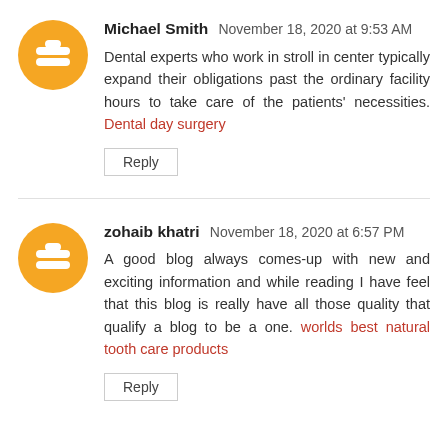Michael Smith November 18, 2020 at 9:53 AM
Dental experts who work in stroll in center typically expand their obligations past the ordinary facility hours to take care of the patients' necessities. Dental day surgery
Reply
zohaib khatri November 18, 2020 at 6:57 PM
A good blog always comes-up with new and exciting information and while reading I have feel that this blog is really have all those quality that qualify a blog to be a one. worlds best natural tooth care products
Reply